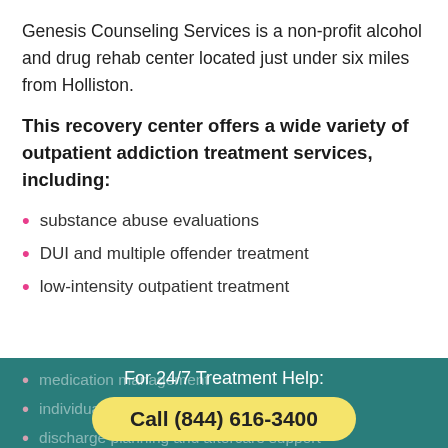Genesis Counseling Services is a non-profit alcohol and drug rehab center located just under six miles from Holliston.
This recovery center offers a wide variety of outpatient addiction treatment services, including:
substance abuse evaluations
DUI and multiple offender treatment
low-intensity outpatient treatment
medication management
individual and group therapy
discharge planning and aftercare support
For 24/7 Treatment Help:
Call (844) 616-3400